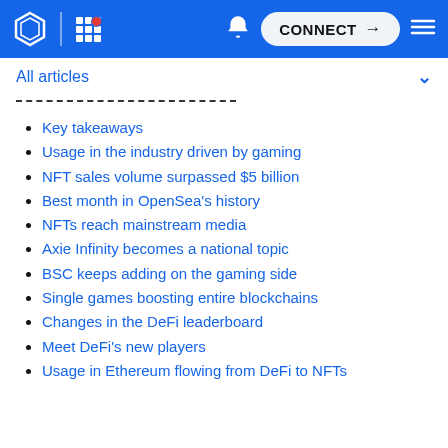CONNECT navigation bar with logo, grid icon, bell, connect button, menu
All articles
Key takeaways
Usage in the industry driven by gaming
NFT sales volume surpassed $5 billion
Best month in OpenSea's history
NFTs reach mainstream media
Axie Infinity becomes a national topic
BSC keeps adding on the gaming side
Single games boosting entire blockchains
Changes in the DeFi leaderboard
Meet DeFi's new players
Usage in Ethereum flowing from DeFi to NFTs